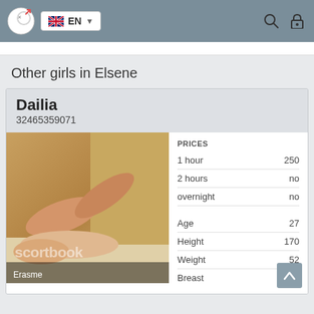EN
Other girls in Elsene
Dailia
32465359071
[Figure (photo): Photo of a person lying down, watermark reads 'escortbook', location label 'Erasme' at bottom left]
|  |  |
| --- | --- |
| PRICES |  |
| 1 hour | 250 |
| 2 hours | no |
| overnight | no |
| Age | 27 |
| Height | 170 |
| Weight | 52 |
| Breast | 3 |